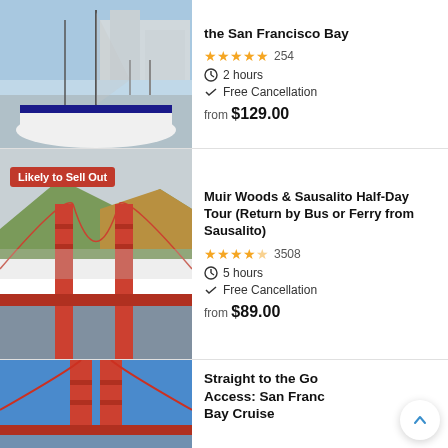[Figure (photo): Sailboat docked at pier in San Francisco Bay]
the San Francisco Bay
★★★★★ 254
⏱ 2 hours
✓ Free Cancellation
from $129.00
[Figure (photo): Golden Gate Bridge with hills, likely to sell out badge]
Muir Woods & Sausalito Half-Day Tour (Return by Bus or Ferry from Sausalito)
★★★★½ 3508
⏱ 5 hours
✓ Free Cancellation
from $89.00
[Figure (photo): Close-up of Golden Gate Bridge structure]
Straight to the Go Access: San Franc Bay Cruise